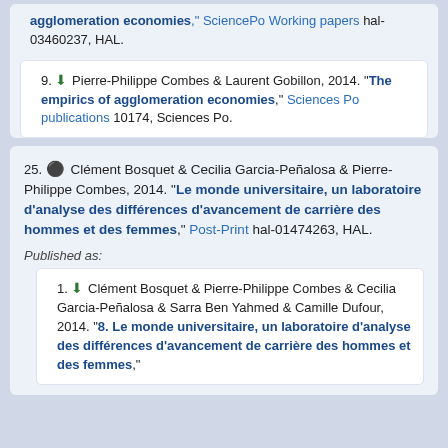agglomeration economies, SciencePo Working papers hal-03460237, HAL.
9. Pierre-Philippe Combes & Laurent Gobillon, 2014. "The empirics of agglomeration economies," Sciences Po publications 10174, Sciences Po.
25. Clément Bosquet & Cecilia Garcia-Peñalosa & Pierre-Philippe Combes, 2014. "Le monde universitaire, un laboratoire d'analyse des différences d'avancement de carrière des hommes et des femmes," Post-Print hal-01474263, HAL.
Published as:
1. Clément Bosquet & Pierre-Philippe Combes & Cecilia Garcia-Peñalosa & Sarra Ben Yahmed & Camille Dufour, 2014. "8. Le monde universitaire, un laboratoire d'analyse des différences d'avancement de carrière des hommes et des femmes,"